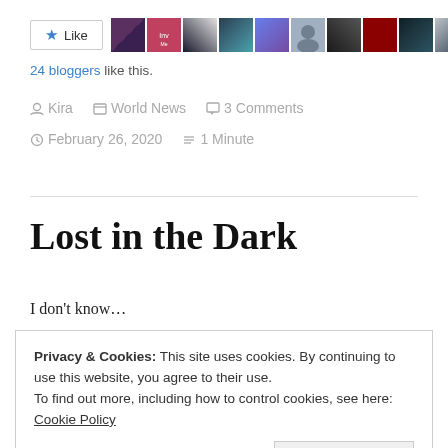[Figure (other): Like button with star icon and 10 blogger avatar thumbnails]
24 bloggers like this.
Kira   World News   3 Comments
February 26, 2020   1 Minute
Lost in the Dark
I don't know…
Privacy & Cookies: This site uses cookies. By continuing to use this website, you agree to their use.
To find out more, including how to control cookies, see here: Cookie Policy
Close and accept